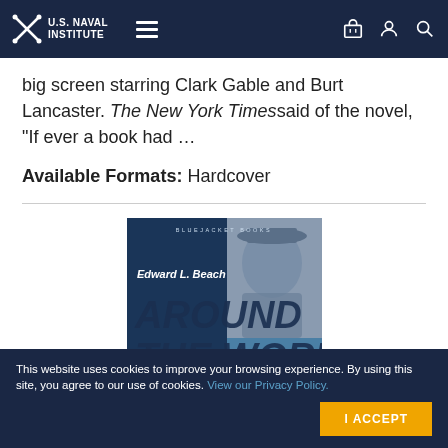U.S. Naval Institute
big screen starring Clark Gable and Burt Lancaster. The New York Times said of the novel, "If ever a book had …
Available Formats: Hardcover
[Figure (illustration): Book cover for 'Around the World Submerged: The Voyage of the Triton' by Edward L. Beach, published in the Bluejacket Books series. Features blue background with a naval officer photo and large bold title text.]
This website uses cookies to improve your browsing experience. By using this site, you agree to our use of cookies. View our Privacy Policy.